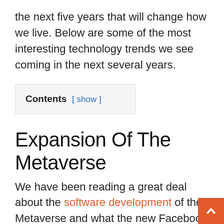the next five years that will change how we live. Below are some of the most interesting technology trends we see coming in the next several years.
Contents [ show ]
Expansion Of The Metaverse
We have been reading a great deal about the software development of the Metaverse and what the new Facebook initiative could look like in a few years. While it isn't yet possible to live in the Metaverse, we think in five years, it will possible